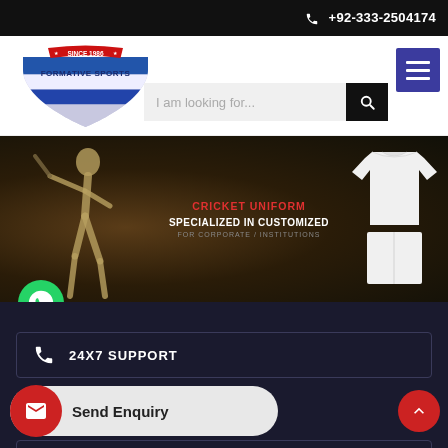+92-333-2504174
[Figure (logo): Formative Sports logo with shield shape, blue/white stripes, 'SINCE 1986' red banner, text 'FORMATIVE SPORTS' in navy blue]
[Figure (screenshot): Cricket uniform advertisement banner showing a cricketer batting, white cricket uniform (shirt and pants) on right, red text 'CRICKET UNIFORM', white text 'SPECIALIZED IN CUSTOMIZED', grey text 'FOR CORPORATE / INSTITUTIONS', green WhatsApp button bottom left]
24X7 SUPPORT
Send Enquiry
CUSTOMISED DESIGNING